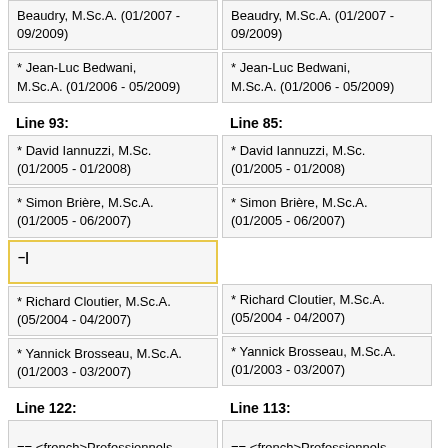Beaudry, M.Sc.A. (01/2007 - 09/2009)
Beaudry, M.Sc.A. (01/2007 - 09/2009)
* Jean-Luc Bedwani, M.Sc.A. (01/2006 - 05/2009)
* Jean-Luc Bedwani, M.Sc.A. (01/2006 - 05/2009)
Line 93:
Line 85:
* David Iannuzzi, M.Sc. (01/2005 - 01/2008)
* David Iannuzzi, M.Sc. (01/2005 - 01/2008)
* Simon Brière, M.Sc.A. (01/2005 - 06/2007)
* Simon Brière, M.Sc.A. (01/2005 - 06/2007)
–|
* Richard Cloutier, M.Sc.A. (05/2004 - 04/2007)
* Richard Cloutier, M.Sc.A. (05/2004 - 04/2007)
* Yannick Brosseau, M.Sc.A. (01/2003 - 03/2007)
* Yannick Brosseau, M.Sc.A. (01/2003 - 03/2007)
Line 122:
Line 113:
== <french>Professionnels de recherche</french>
== <french>Professionnels de recherche</french>